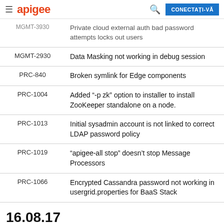apigee  CONECTAȚI-VĂ
| ID | Description |
| --- | --- |
| MGMT-3930 | Private cloud external auth bad password attempts locks out users |
| MGMT-2930 | Data Masking not working in debug session |
| PRC-840 | Broken symlink for Edge components |
| PRC-1004 | Added "-p zk" option to installer to install ZooKeeper standalone on a node. |
| PRC-1013 | Initial sysadmin account is not linked to correct LDAP password policy |
| PRC-1019 | "apigee-all stop" doesn't stop Message Processors |
| PRC-1066 | Encrypted Cassandra password not working in usergrid.properties for BaaS Stack |
16.08.17